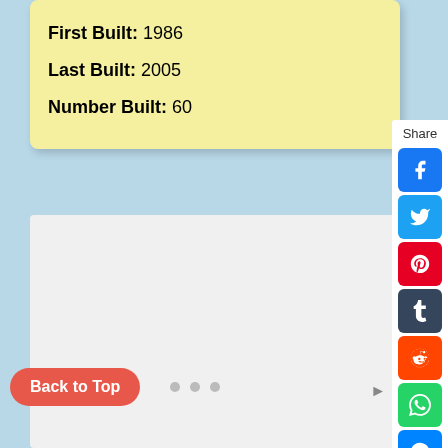First Built: 1986
Last Built: 2005
Number Built: 60
[Figure (screenshot): Social media share sidebar with Facebook, Twitter, Pinterest, Tumblr, Reddit, WhatsApp, and Messenger buttons]
Back to Top